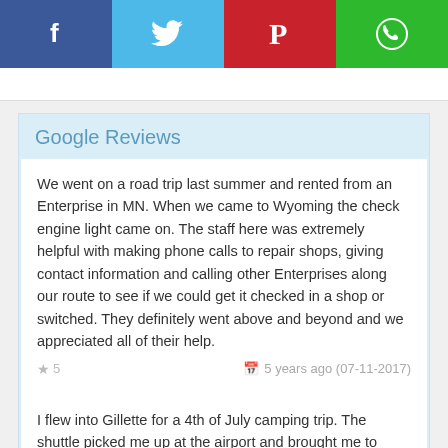[Figure (infographic): Social share bar with Facebook (blue), Twitter (light blue), Pinterest (red), and WhatsApp (green) buttons]
Google Reviews
We went on a road trip last summer and rented from an Enterprise in MN. When we came to Wyoming the check engine light came on. The staff here was extremely helpful with making phone calls to repair shops, giving contact information and calling other Enterprises along our route to see if we could get it checked in a shop or switched. They definitely went above and beyond and we appreciated all of their help.
★ 5   🗓 5 years ago (07-11-2017)
I flew into Gillette for a 4th of July camping trip. The shuttle picked me up at the airport and brought me to Enterprise pretty quick. The car rental themselves...